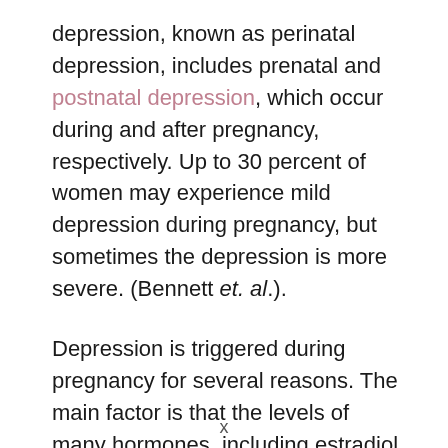depression, known as perinatal depression, includes prenatal and postnatal depression, which occur during and after pregnancy, respectively. Up to 30 percent of women may experience mild depression during pregnancy, but sometimes the depression is more severe. (Bennett et. al.).
Depression is triggered during pregnancy for several reasons. The main factor is that the levels of many hormones, including estradiol, progesterone, and cortisol, alter
x